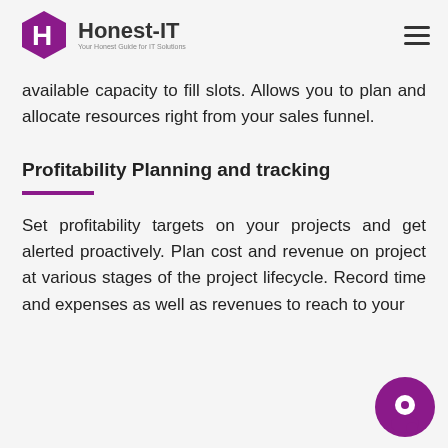Honest-IT — Your Honest Guide to IT Solutions
available capacity to fill slots. Allows you to plan and allocate resources right from your sales funnel.
Profitability Planning and tracking
Set profitability targets on your projects and get alerted proactively. Plan cost and revenue on project at various stages of the project lifecycle. Record time and expenses as well as revenues to reach to your